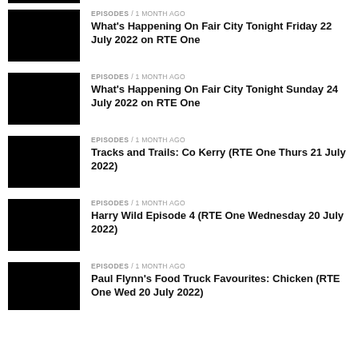EPISODES / 1 month ago
What's Happening On Fair City Tonight Friday 22 July 2022 on RTE One
EPISODES / 1 month ago
What's Happening On Fair City Tonight Sunday 24 July 2022 on RTE One
EPISODES / 1 month ago
Tracks and Trails: Co Kerry (RTE One Thurs 21 July 2022)
EPISODES / 1 month ago
Harry Wild Episode 4 (RTE One Wednesday 20 July 2022)
EPISODES / 1 month ago
Paul Flynn's Food Truck Favourites: Chicken (RTE One Wed 20 July 2022)